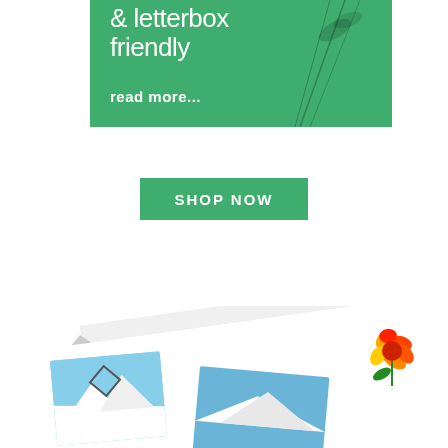[Figure (illustration): Green banner with white text showing '& letterbox friendly' and 'read more...' with decorative plant/flower stem illustration on the right side]
[Figure (illustration): Green 'SHOP NOW' button centered on white background]
[Figure (photo): Bottom portion showing a collection of photos/cards spread out, including sky/mountain images, a pencil or pen, a drawn diamond shape, and a bright red/orange flower]